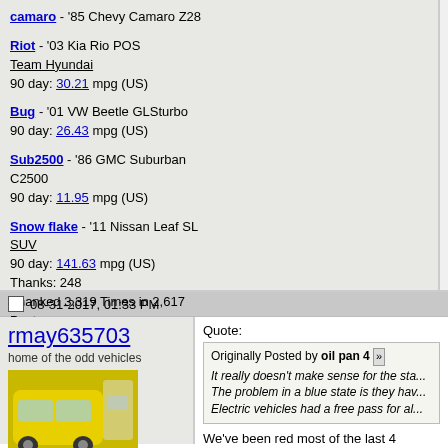camaro - '85 Chevy Camaro Z28
Riot - '03 Kia Rio POS Team Hyundai 90 day: 30.21 mpg (US)
Bug - '01 VW Beetle GLSturbo 90 day: 26.43 mpg (US)
Sub2500 - '86 GMC Suburban C2500 90 day: 11.95 mpg (US)
Snow flake - '11 Nissan Leaf SL SUV 90 day: 141.63 mpg (US) Thanks: 248 Thanked 3,319 Times in 2,617 Posts
08-31-2017, 01:33 PM
rmay635703
home of the odd vehicles
[Figure (photo): Yellow small electric vehicle parked in a parking lot]
Join Date: Jun 2008
Quote:
Originally Posted by oil pan 4 It really doesn't make sense for the sta... The problem in a blue state is they ha... Electric vehicles had a free pass for al...
We've been red most of the last 4 decades...